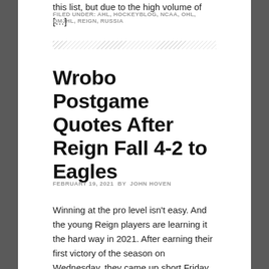this list, but due to the high volume of […]
FILED UNDER: AHL, HOCKEYBLOG, NCAA, OHL, QMJHL, REIGN, RUSSIA
Wrobo Postgame Quotes After Reign Fall 4-2 to Eagles
FEBRUARY 19, 2021 BY JOHN HOVEN
Winning at the pro level isn't easy. And the young Reign players are learning it the hard way in 2021. After earning their first victory of the season on Wednesday, they came up short Friday night in a rematch with the visiting Colorado Eagles. Things